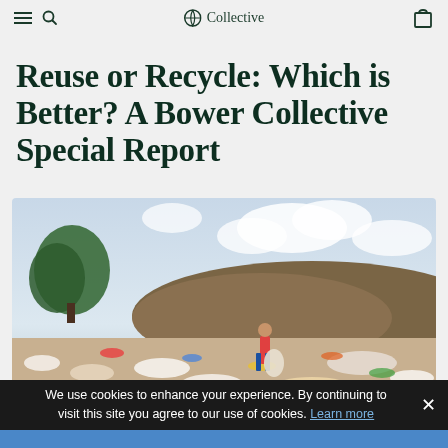Bower Collective
Reuse or Recycle: Which is Better? A Bower Collective Special Report
[Figure (photo): A child standing on a large landfill/garbage dump site with scattered plastic waste and debris, green trees and cloudy sky in background]
We use cookies to enhance your experience. By continuing to visit this site you agree to our use of cookies. Learn more